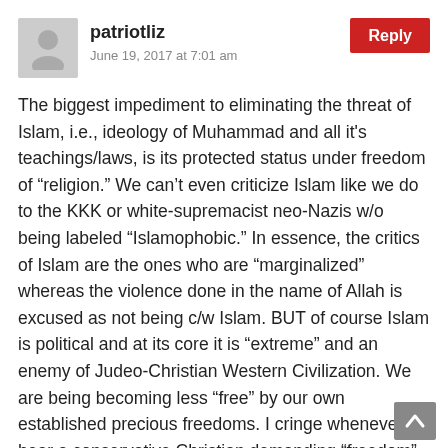patriotliz
June 19, 2017 at 7:01 am
The biggest impediment to eliminating the threat of Islam, i.e., ideology of Muhammad and all it's teachings/laws, is its protected status under freedom of “religion.” We can’t even criticize Islam like we do to the KKK or white-supremacist neo-Nazis w/o being labeled “Islamophobic.” In essence, the critics of Islam are the ones who are “marginalized” whereas the violence done in the name of Allah is excused as not being c/w Islam. BUT of course Islam is political and at its core it is “extreme” and an enemy of Judeo-Christian Western Civilization. We are being becoming less “free” by our own established precious freedoms. I cringe whenever I hear a conservative Christian demanding “freedom” to practice “their religion” as their conscious dictates. Hold the phone!...make an exception to that statement